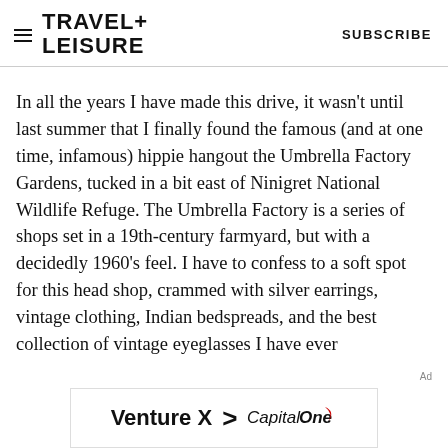TRAVEL+ LEISURE    SUBSCRIBE
In all the years I have made this drive, it wasn't until last summer that I finally found the famous (and at one time, infamous) hippie hangout the Umbrella Factory Gardens, tucked in a bit east of Ninigret National Wildlife Refuge. The Umbrella Factory is a series of shops set in a 19th-century farmyard, but with a decidedly 1960's feel. I have to confess to a soft spot for this head shop, crammed with silver earrings, vintage clothing, Indian bedspreads, and the best collection of vintage eyeglasses I have ever
[Figure (other): Advertisement banner for Capital One Venture X credit card showing 'Venture X > Capital One' logo]